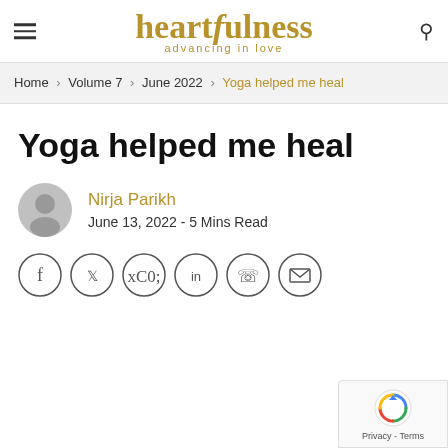heartfulness — advancing in love
Home › Volume 7 › June 2022 › Yoga helped me heal
Yoga helped me heal
Nirja Parikh
June 13, 2022 - 5 Mins Read
[Figure (infographic): Social share icons: Facebook, Twitter, Pinterest, LinkedIn, WhatsApp, Email]
[Figure (other): Google reCAPTCHA badge with Privacy and Terms text]